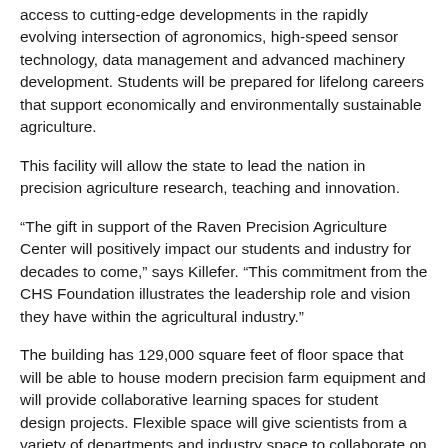access to cutting-edge developments in the rapidly evolving intersection of agronomics, high-speed sensor technology, data management and advanced machinery development. Students will be prepared for lifelong careers that support economically and environmentally sustainable agriculture.
This facility will allow the state to lead the nation in precision agriculture research, teaching and innovation.
“The gift in support of the Raven Precision Agriculture Center will positively impact our students and industry for decades to come,” says Killefer. “This commitment from the CHS Foundation illustrates the leadership role and vision they have within the agricultural industry.”
The building has 129,000 square feet of floor space that will be able to house modern precision farm equipment and will provide collaborative learning spaces for student design projects. Flexible space will give scientists from a variety of departments and industry space to collaborate on research and education.